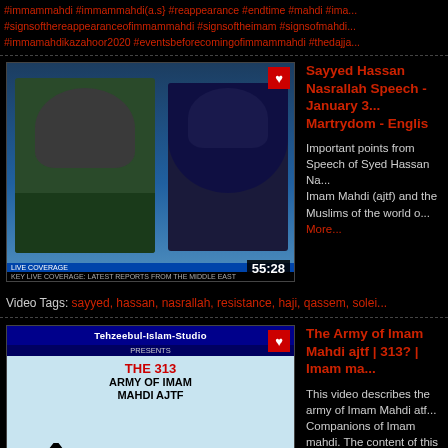#immammahdi #immammahdi(a.s} #reappearance #endtime #mahdi #ima... #signsofthereappearanceofimmammahdi #signsoftheimam #signsofmahdi... #immamahdikazahoor2020 #eventsbeforecomingofimmammahdi #thedajja...
[Figure (screenshot): Video thumbnail showing two people in a TV broadcast setting, with a ticker at the bottom. Duration shown: 55:28. Red heart/save icon in top right.]
Sayyed Hassan Nasrallah Speech - January 3... Martrydom - Englis
Important points from Speech of Syed Hassan Na... Imam Mahdi (ajtf) and the Muslims of the world o... More...
Video Tags: sayyed, hassan, nasrallah, resistance, haji, qassem, solei...
[Figure (screenshot): Video thumbnail for 'The Army of Imam Mahdi ajtf | 313?' showing Tehzeebul-Islam-Studio animated presentation. Duration: 7:55. Red heart/save icon in top right.]
The Army of Imam Mahdi ajtf | 313? | Imam ma...
This video describes the army of Imam Mahdi atf... Companions of Imam mahdi. The content of this v... More...
Video Tags: #tehzeebulislamstudio #whiteboardanimation #shiaanimatio... #imammahdi313soldiers #imammahdias313 #imammahdias313nas...